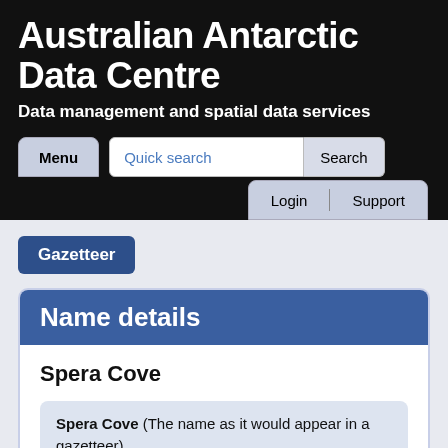Australian Antarctic Data Centre
Data management and spatial data services
Menu
Quick search
Search
Login
Support
Gazetteer
Name details
Spera Cove
Spera Cove (The name as it would appear in a gazetteer)